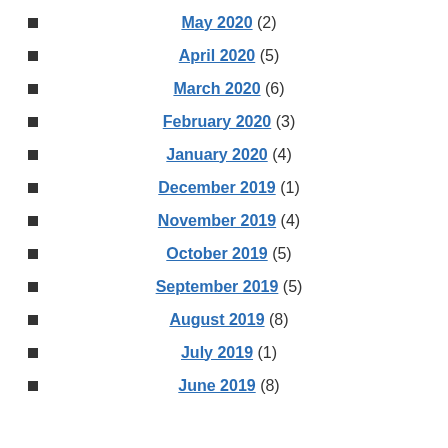May 2020 (2)
April 2020 (5)
March 2020 (6)
February 2020 (3)
January 2020 (4)
December 2019 (1)
November 2019 (4)
October 2019 (5)
September 2019 (5)
August 2019 (8)
July 2019 (1)
June 2019 (8)